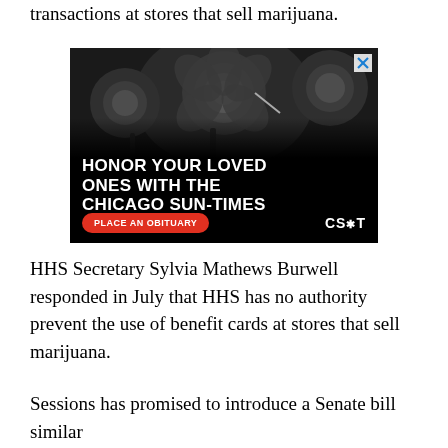transactions at stores that sell marijuana.
[Figure (other): Advertisement for Chicago Sun-Times obituary service. Black and white photo of roses with text 'HONOR YOUR LOVED ONES WITH THE CHICAGO SUN-TIMES' and a red 'PLACE AN OBITUARY' button, CS*T logo.]
HHS Secretary Sylvia Mathews Burwell responded in July that HHS has no authority prevent the use of benefit cards at stores that sell marijuana.
Sessions has promised to introduce a Senate bill similar